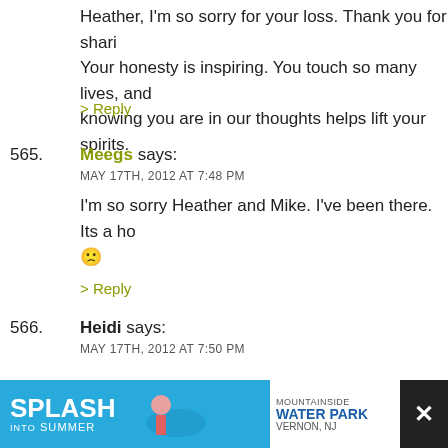Heather, I'm so sorry for your loss. Thank you for sharing. Your honesty is inspiring. You touch so many lives, and knowing you are in our thoughts helps lift your spirits.
> Reply
565. Meegs says: MAY 17TH, 2012 AT 7:48 PM — I'm so sorry Heather and Mike. I've been there. Its a ho... :(
> Reply
566. Heidi says: MAY 17TH, 2012 AT 7:50 PM — Heather, I am so sorry for your loss. I know that this bab loved and wanted. (((Giant hugs.)))
> Reply
567. Manapan says:
[Figure (screenshot): Advertisement banner: Splash into Summer - Mountainside Water Park, Vernon NJ]